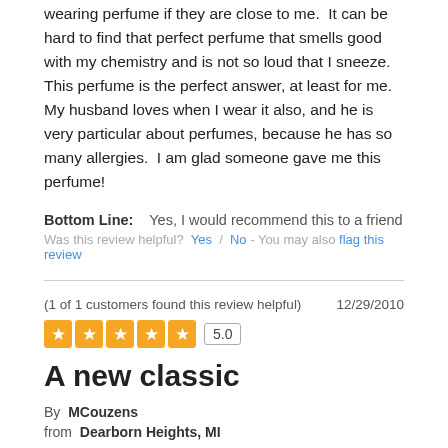wearing perfume if they are close to me.  It can be hard to find that perfect perfume that smells good with my chemistry and is not so loud that I sneeze.  This perfume is the perfect answer, at least for me.  My husband loves when I wear it also, and he is very particular about perfumes, because he has so many allergies.  I am glad someone gave me this perfume!
Bottom Line:    Yes, I would recommend this to a friend
Was this review helpful?  Yes  /  No - You may also flag this review
(1 of 1 customers found this review helpful)
12/29/2010
[Figure (other): 5-star rating with 5 orange star icons and rating box showing 5.0]
A new classic
By  MCouzens
from  Dearborn Heights, MI
I started using this fragrance about 6-8 years ago. I love to try new fragrances and always have about 5 or 6 different ones to